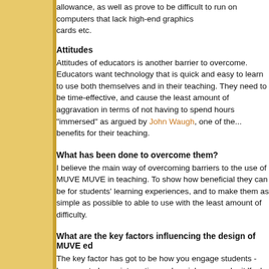allowance, as well as prove to be difficult to run on computers that lack high-end graphics cards etc.
Attitudes
Attitudes of educators is another barrier to overcome. Educators want technology that is quick and easy to learn to use both themselves and in their teaching. They need to be time-effective, and cause the least amount of aggravation in terms of not having to spend hours "immersed" as argued by John Waugh, one of the ... benefits for their teaching.
What has been done to overcome them?
I believe the main way of overcoming barriers to the use of MUVE in teaching. To show how beneficial they can be for students' learning experiences, and to make them as simple as possible to be able to use with the least amount of difficulty.
What are the key factors influencing the design of MUVE e...
The key factor has got to be how you engage students - how you... to be an interactive and social one - make it 'fun', yet credible. ... the classroom in a MUVE but rather should look at how you can... experiences that are unique to the MUVE.
At the same time, I also think we need to consider how our desi... limited or no access to the MUVE - how can we ensure they ha...